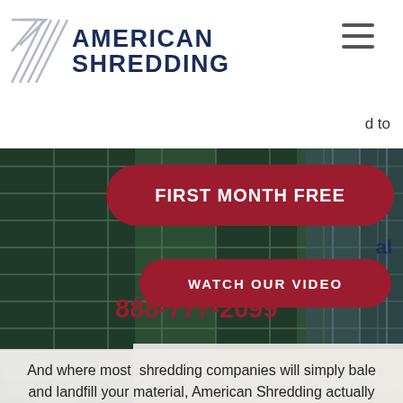[Figure (logo): American Shredding logo with diagonal line icon and bold dark blue text]
[Figure (screenshot): Hamburger menu icon (three horizontal lines) in top right]
d to
[Figure (photo): Background photo of glass building facade with green tint and city reflections]
FIRST MONTH FREE
888-777-2099
al
And where most  shredding companies will simply bale and landfill your material, American Shredding actually shreds it first.
GOT PRODUCTS? Give us shout.
WATCH OUR VIDEO
[Figure (photo): Blue blurred background at the bottom of the page]